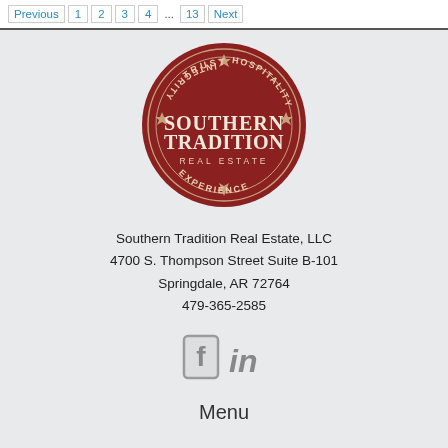Previous 1 2 3 4 ... 13 Next
[Figure (logo): Southern Tradition Real Estate LLC circular logo in dark red/maroon with text TRUST, HOSPITALITY, EXPERIENCE, INTEGRITY around the border and SOUTHERN TRADITION REAL ESTATE in the center]
Southern Tradition Real Estate, LLC
4700 S. Thompson Street Suite B-101
Springdale, AR 72764
479-365-2585
[Figure (illustration): Facebook and LinkedIn social media icons in gray]
Menu